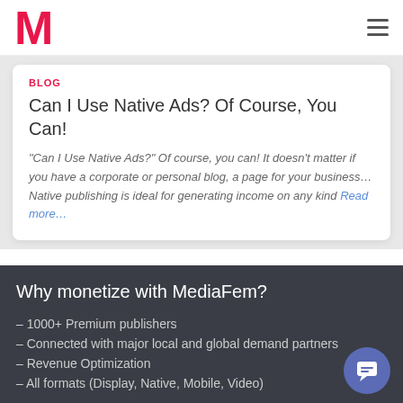M
BLOG
Can I Use Native Ads? Of Course, You Can!
"Can I Use Native Ads?" Of course, you can! It doesn't matter if you have a corporate or personal blog, a page for your business… Native publishing is ideal for generating income on any kind Read more…
Why monetize with MediaFem?
– 1000+ Premium publishers
– Connected with major local and global demand partners
– Revenue Optimization
– All formats (Display, Native, Mobile, Video)